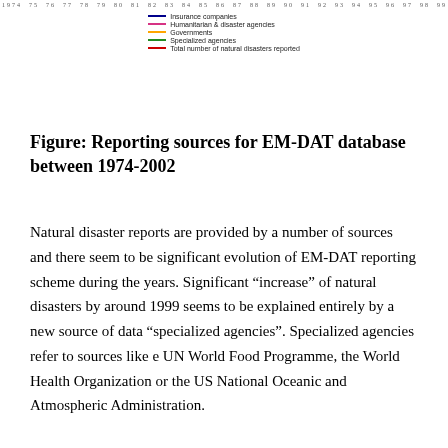[Figure (other): Top portion of a line chart showing reporting sources for EM-DAT database between 1974-2002, with year axis ticks visible at top. Legend shows: Insurance companies (blue), Humanitarian & disaster agencies (pink), Governments (orange), Specialized agencies (green), Total number of natural disasters reported (red).]
Figure: Reporting sources for EM-DAT database between 1974-2002
Natural disaster reports are provided by a number of sources and there seem to be significant evolution of EM-DAT reporting scheme during the years. Significant “increase” of natural disasters by around 1999 seems to be explained entirely by a new source of data “specialized agencies”. Specialized agencies refer to sources like e UN World Food Programme, the World Health Organization or the US National Oceanic and Atmospheric Administration.